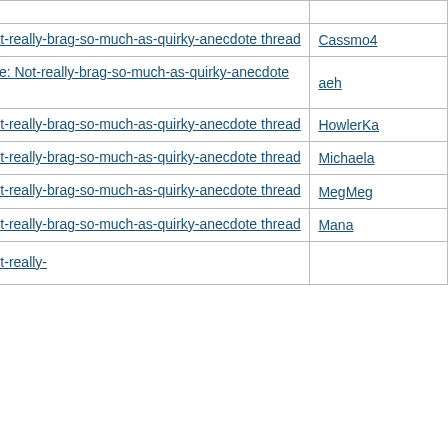| Subject | Author |
| --- | --- |
| Re: Not-really-brag-so-much-as-quirky-anecdote thread | Cassmo4 |
| Re: Not-really-brag-so-much-as-quirky-anecdote thread | aeh |
| Re: Not-really-brag-so-much-as-quirky-anecdote thread | HowlerKa |
| Re: Not-really-brag-so-much-as-quirky-anecdote thread | Michaela |
| Re: Not-really-brag-so-much-as-quirky-anecdote thread | MegMeg |
| Re: Not-really-brag-so-much-as-quirky-anecdote thread | Mana |
| Re: Not-really-brag-so-much-as-quirky-anecdote thread |  |